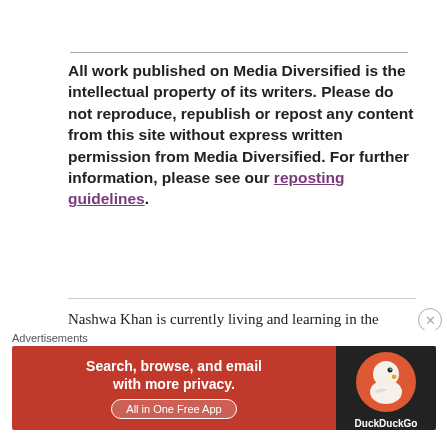All work published on Media Diversified is the intellectual property of its writers. Please do not reproduce, republish or repost any content from this site without express written permission from Media Diversified. For further information, please see our reposting guidelines.
Nashwa Khan is currently living and learning in the Greater Toronto Area. She is an avid storyteller and lover of narrative medicine and public health education. See...
[Figure (other): DuckDuckGo advertisement banner: orange/red background with text 'Search, browse, and email with more privacy. All in One Free App' and DuckDuckGo logo on dark background]